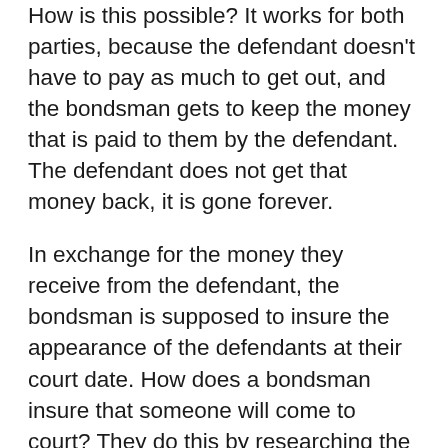How is this possible?  It works for both parties, because the defendant doesn't have to pay as much to get out, and the bondsman gets to keep the money that is paid to them by the defendant.  The defendant does not get that money back, it is gone forever.
In exchange for the money they receive from the defendant, the bondsman is supposed to insure the appearance of the defendants at their court date.  How does a bondsman insure that someone will come to court?  They do this by researching the defendant before they bond them out, by finding out where they live, where they work and where they can be found if the bondsman needs to track them down.  Hopefully, you don't have to use a bail bondsman frequently, but if you ever have to use one, now you know how their system works.